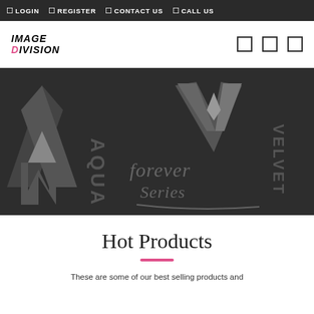LOGIN  REGISTER  CONTACT US  CALL US
[Figure (logo): IMAGE DIVISION logo with pink D]
[Figure (illustration): Dark hero banner showing brand logos: Aqua, Velvet, NM, Forever Series in dark grey tones]
Hot Products
These are some of our best selling products and